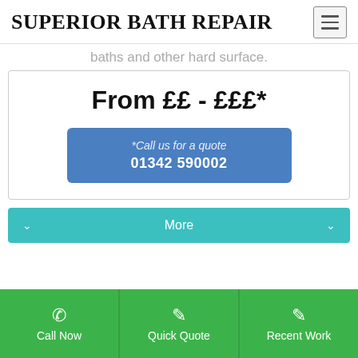SUPERIOR BATH REPAIR
baths and other hard surface.
From ££ - £££*
*Call us for a quote 01342 590002
More
Call Now
Quick Quote
Recent Work